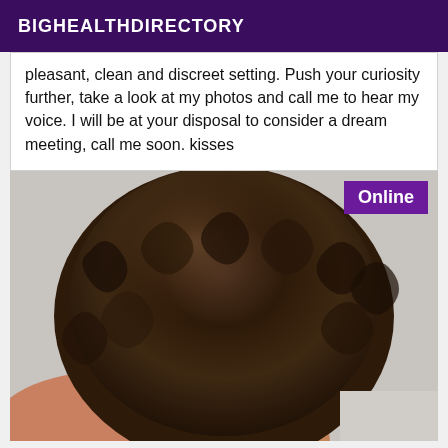BIGHEALTHDIRECTORY
pleasant, clean and discreet setting. Push your curiosity further, take a look at my photos and call me to hear my voice. I will be at your disposal to consider a dream meeting, call me soon. kisses
[Figure (photo): Close-up photo of a person with curly dark hair viewed from behind, wearing a pink strap. An 'Online' badge is visible in the top-right corner of the image.]